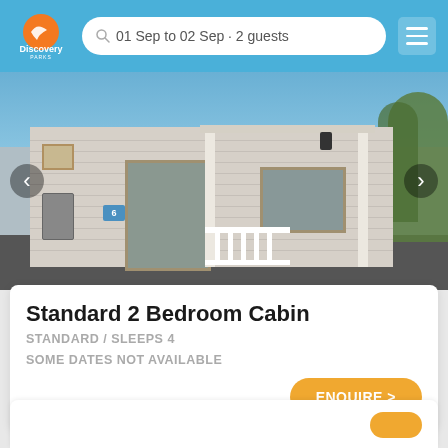Discovery Parks — 01 Sep to 02 Sep · 2 guests
[Figure (photo): Exterior photo of a Standard 2 Bedroom Cabin with light grey weatherboard siding, white porch railings and columns, sliding door, two windows with golden frames, a black lantern-style light fixture, and an air conditioning unit to the left. Blue sky visible in background with green trees on the right.]
Standard 2 Bedroom Cabin
STANDARD / SLEEPS 4
SOME DATES NOT AVAILABLE
ENQUIRE >